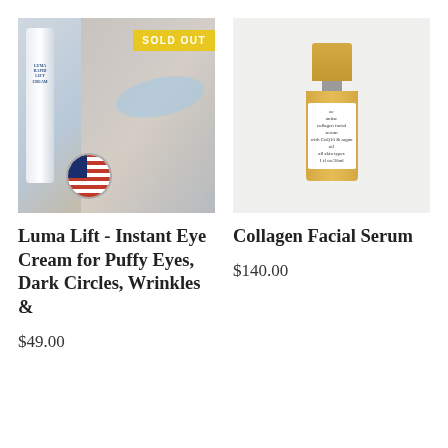[Figure (photo): Product image of Luma Lift Rapid Lift Cream eye cream tube with face model wearing blue eye patches and a US flag seal, with SOLD OUT badge]
Luma Lift - Instant Eye Cream for Puffy Eyes, Dark Circles, Wrinkles &
$49.00
[Figure (photo): Product image of Aniise Collagen Facial Serum with CoQ10 in a gold-capped bottle]
Collagen Facial Serum
$140.00